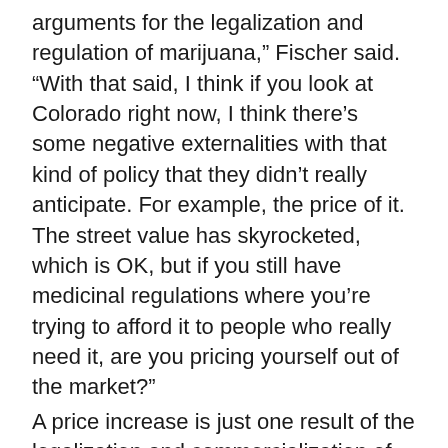arguments for the legalization and regulation of marijuana," Fischer said. "With that said, I think if you look at Colorado right now, I think there's some negative externalities with that kind of policy that they didn't really anticipate. For example, the price of it. The street value has skyrocketed, which is OK, but if you still have medicinal regulations where you're trying to afford it to people who really need it, are you pricing yourself out of the market?"
A price increase is just one result of the legalization and commercialization of weed as a consumer product. If marijuana becomes recreationally legal in any given state, Brady believes illegal sales will take a devastating blow. This makes buying pot safer for consumers, she said, and takes possible violence out of the purchasing process.
This sentiment may only be partially true, however. In an interview for Public Broadcasting Service, Mason